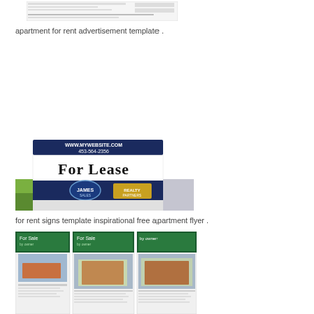[Figure (screenshot): Apartment for rent advertisement template document screenshot]
apartment for rent advertisement template .
[Figure (photo): For Lease sign with www.mywebsite.com and 453-564-2356, agent name James, realty branding]
for rent signs template inspirational free apartment flyer .
[Figure (screenshot): Three For Sale by owner real estate flyer templates showing houses]